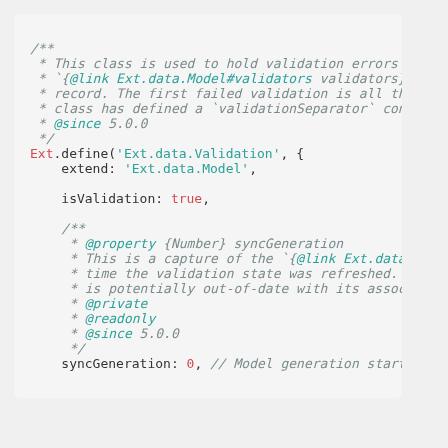[Figure (screenshot): Source code screenshot showing JavaScript documentation comment and Ext.define call for Ext.data.Validation class, with syntax highlighting: comments in gray italic, keywords in red/pink, strings and links in teal.]